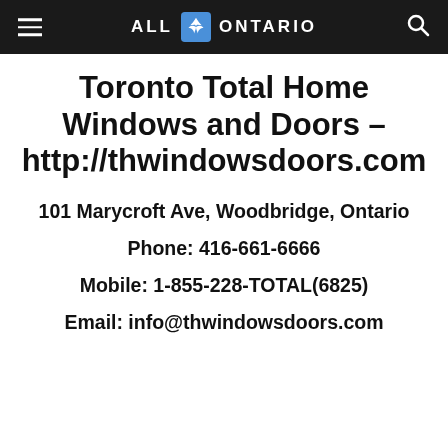ALL ONTARIO
Toronto Total Home Windows and Doors – http://thwindowsdoors.com
101 Marycroft Ave, Woodbridge, Ontario
Phone: 416-661-6666
Mobile: 1-855-228-TOTAL(6825)
Email: info@thwindowsdoors.com